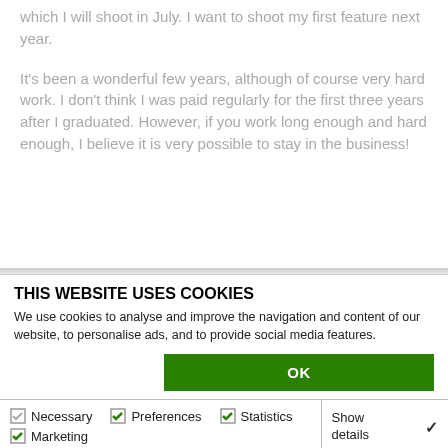which I will shoot in July. I want to shoot my first feature next year.
It’s been a wonderful few years, although of course very hard work. I don’t think I was paid regularly for the first three years after I graduated. However, if you work long enough and hard enough, I believe it is very possible to stay in the business!
THIS WEBSITE USES COOKIES
We use cookies to analyse and improve the navigation and content of our website, to personalise ads, and to provide social media features.
OK
Necessary  Preferences  Statistics  Marketing  Show details